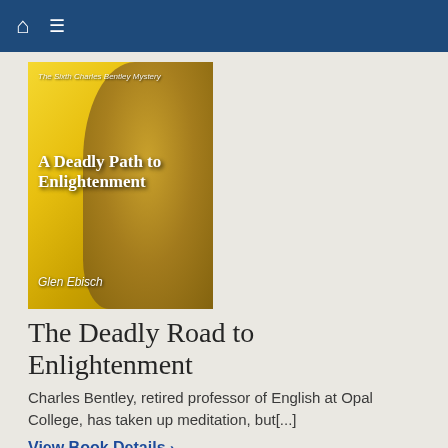[Figure (illustration): Book cover for 'A Deadly Path to Enlightenment' by Glen Ebisch, The Sixth Charles Bentley Mystery. Features a golden Buddha face with yellow flower petals in the background.]
The Deadly Road to Enlightenment
Charles Bentley, retired professor of English at Opal College, has taken up meditation, but[...]
View Book Details ›
[Figure (illustration): Book cover for 'A Killer Birthday' by Glen Ebisch, The Seventh Charles Bentley Mystery. Features colorful balloons at the top and birthday candles at the bottom on a dark background.]